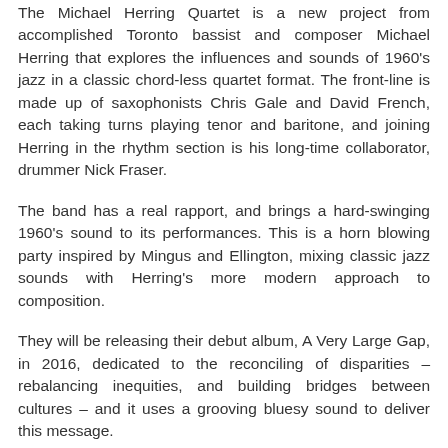The Michael Herring Quartet is a new project from accomplished Toronto bassist and composer Michael Herring that explores the influences and sounds of 1960's jazz in a classic chord-less quartet format. The front-line is made up of saxophonists Chris Gale and David French, each taking turns playing tenor and baritone, and joining Herring in the rhythm section is his long-time collaborator, drummer Nick Fraser.
The band has a real rapport, and brings a hard-swinging 1960's sound to its performances. This is a horn blowing party inspired by Mingus and Ellington, mixing classic jazz sounds with Herring's more modern approach to composition.
They will be releasing their debut album, A Very Large Gap, in 2016, dedicated to the reconciling of disparities – rebalancing inequities, and building bridges between cultures – and it uses a grooving bluesy sound to deliver this message.
“Michael Herring has established himself as one of the most creative musicians on the Canadian scene”, Joseph Blake